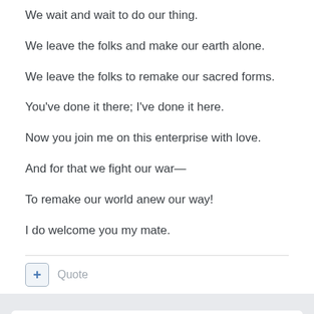We wait and wait to do our thing.
We leave the folks and make our earth alone.
We leave the folks to remake our sacred forms.
You've done it there; I've done it here.
Now you join me on this enterprise with love.
And for that we fight our war—
To remake our world anew our way!
I do welcome you my mate.
+ Quote
4 months later...
AMERICONORMAN